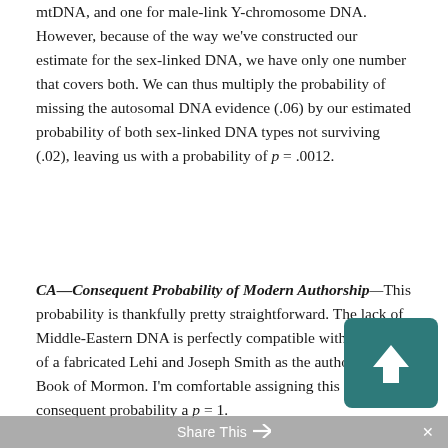mtDNA, and one for male-link Y-chromosome DNA. However, because of the way we've constructed our estimate for the sex-linked DNA, we have only one number that covers both. We can thus multiply the probability of missing the autosomal DNA evidence (.06) by our estimated probability of both sex-linked DNA types not surviving (.02), leaving us with a probability of p = .0012.
CA—Consequent Probability of Modern Authorship—This probability is thankfully pretty straightforward. The lack of Middle-Eastern DNA is perfectly compatible with the idea of a fabricated Lehi and Joseph Smith as the author of the Book of Mormon. I'm comfortable assigning this consequent probability a p = 1.
Share This